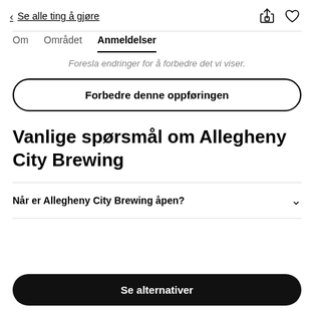< Se alle ting å gjøre
Om   Området   Anmeldelser
Foresla endringer for å forbedre det vi viser.
Forbedre denne oppføringen
Vanlige spørsmål om Allegheny City Brewing
Når er Allegheny City Brewing åpen?
Se alternativer